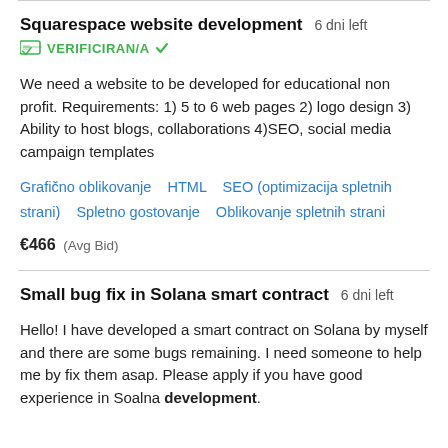Squarespace website development  6 dni left
VERIFICIRAN/A
We need a website to be developed for educational non profit. Requirements: 1) 5 to 6 web pages 2) logo design 3) Ability to host blogs, collaborations 4)SEO, social media campaign templates
Grafično oblikovanje   HTML   SEO (optimizacija spletnih strani)   Spletno gostovanje   Oblikovanje spletnih strani
€466  (Avg Bid)
Small bug fix in Solana smart contract  6 dni left
Hello! I have developed a smart contract on Solana by myself and there are some bugs remaining. I need someone to help me by fix them asap. Please apply if you have good experience in Soalna development.